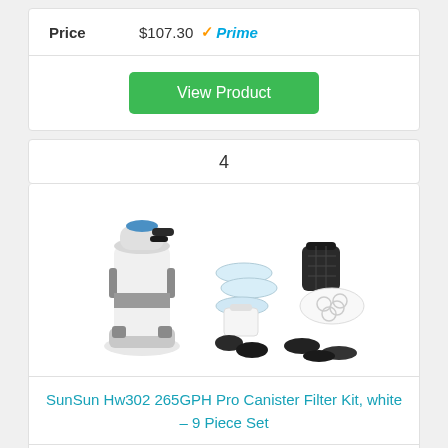| Price | $107.30 | Prime |
View Product
4
[Figure (photo): SunSun Hw302 canister filter kit showing the main filter unit and accessories including filter media, hoses, and connectors against a white background.]
SunSun Hw302 265GPH Pro Canister Filter Kit, white – 9 Piece Set
| Price | $69.99 | Prime |